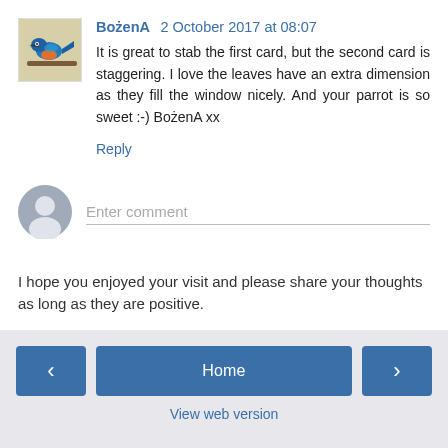[Figure (photo): Avatar image of a kingfisher bird on a branch]
BożenA 2 October 2017 at 08:07
It is great to stab the first card, but the second card is staggering. I love the leaves have an extra dimension as they fill the window nicely. And your parrot is so sweet :-) BożenA xx
Reply
[Figure (illustration): Gray user avatar silhouette icon for comment entry]
Enter comment
I hope you enjoyed your visit and please share your thoughts as long as they are positive.
‹
Home
›
View web version